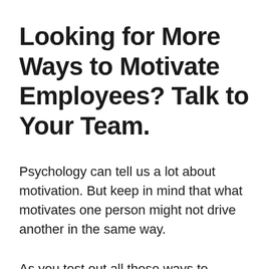Looking for More Ways to Motivate Employees? Talk to Your Team.
Psychology can tell us a lot about motivation. But keep in mind that what motivates one person might not drive another in the same way.
As you test out all these ways to motivate employees in your company, be sure to continuously check in on your team